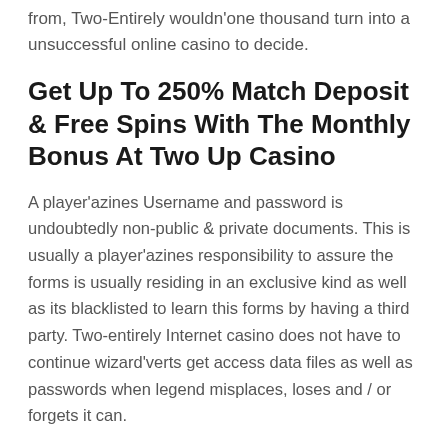from, Two-Entirely wouldn'one thousand turn into a unsuccessful online casino to decide.
Get Up To 250% Match Deposit & Free Spins With The Monthly Bonus At Two Up Casino
A player'azines Username and password is undoubtedly non-public & private documents. This is usually a player'azines responsibility to assure the forms is usually residing in an exclusive kind as well as its blacklisted to learn this forms by having a third party. Two-entirely Internet casino does not have to continue wizard'verts get access data files as well as passwords when legend misplaces, loses and / or forgets it can.
Terms And Conditions